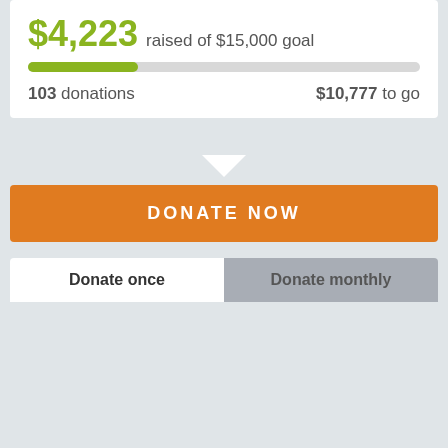$4,223 raised of $15,000 goal
103 donations   $10,777 to go
DONATE NOW
Donate once
Donate monthly
$12 USD — Covers a woman's transportation costs for one month of co-op meetings.
$25 — Covers cost for one embroidery toolkit (includes scissors, fabric...